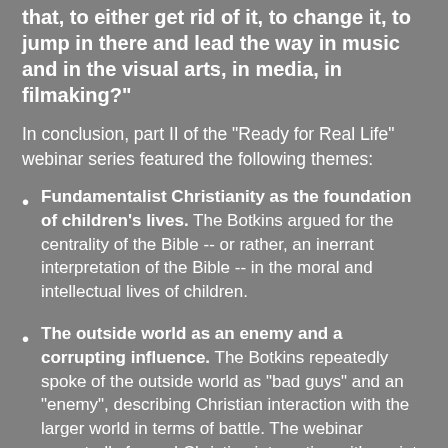that, to either get rid of it, to change it, to jump in there and lead the way in music and in the visual arts, in media, in filmaking?"
In conclusion, part II of the "Ready for Real Life" webinar series featured the following themes:
Fundamentalist Christianity as the foundation of children's lives. The Botkins argued for the centrality of the Bible -- or rather, an inerrant interpretation of the Bible -- in the moral and intellectual lives of children.
The outside world as an enemy and a corrupting influence. The Botkins repeatedly spoke of the outside world as "bad guys" and an "enemy", describing Christian interaction with the larger world in terms of battle. The webinar repeatedly framed Christian interaction with society as a zero sum game; Christians could